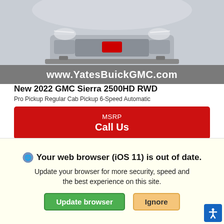[Figure (photo): Partial front-end view of a white/silver GMC Sierra 2500HD pickup truck on a light gray background]
www.YatesBuickGMC.com
New 2022 GMC Sierra 2500HD RWD
Pro Pickup Regular Cab Pickup 6-Speed Automatic
MSRP
Call Us
[Figure (logo): Shop-Click Drive button with circular chrome badge on left and black rounded rectangle with text START BUYING PROCESS on right]
*First Name   *Last Name
Your web browser (iOS 11) is out of date.
Update your browser for more security, speed and the best experience on this site.
Update browser   Ignore